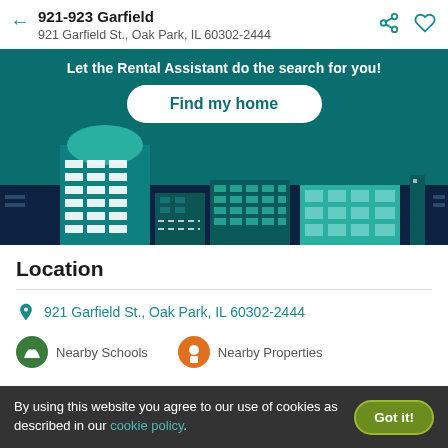921-923 Garfield
921 Garfield St., Oak Park, IL 60302-2444
[Figure (illustration): Dark teal banner with city skyline illustration showing stylized buildings. White rounded-rectangle button labeled 'Find my home' and bold white text reading 'Let the Rental Assistant do the search for you!']
Location
921 Garfield St., Oak Park, IL 60302-2444
Nearby Schools    Nearby Properties
By using this website you agree to our use of cookies as described in our cookie policy.